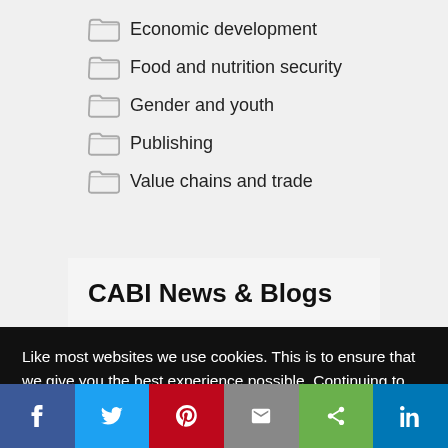Economic development
Food and nutrition security
Gender and youth
Publishing
Value chains and trade
CABI News & Blogs
Like most websites we use cookies. This is to ensure that we give you the best experience possible. Continuing to use Invasives Blog means you agree to our use of cookies. If you would like to, you can learn more about the cookies we use here.